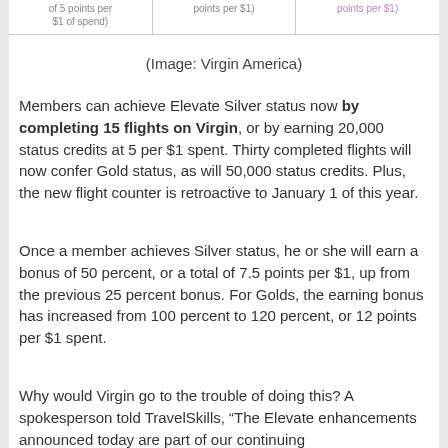| of 5 points per $1 of spend) | points per $1) | points per $1) |
| --- | --- | --- |
(Image: Virgin America)
Members can achieve Elevate Silver status now by completing 15 flights on Virgin, or by earning 20,000 status credits at 5 per $1 spent. Thirty completed flights will now confer Gold status, as will 50,000 status credits. Plus, the new flight counter is retroactive to January 1 of this year.
Once a member achieves Silver status, he or she will earn a bonus of 50 percent, or a total of 7.5 points per $1, up from the previous 25 percent bonus. For Golds, the earning bonus has increased from 100 percent to 120 percent, or 12 points per $1 spent.
Why would Virgin go to the trouble of doing this? A spokesperson told TravelSkills, “The Elevate enhancements announced today are part of our continuing